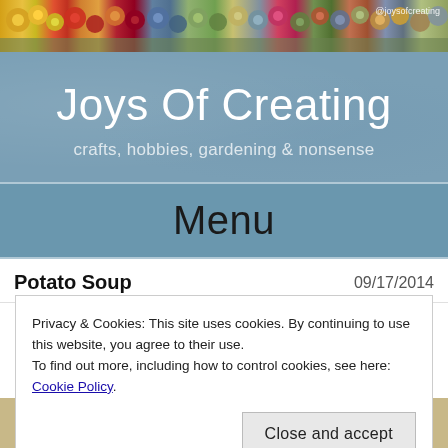[Figure (photo): Colorful crochet/knit flowers banner header with watermark @joysofcreating]
Joys Of Creating
crafts, hobbies, gardening & nonsense
Menu
Potato Soup	09/17/2014
Privacy & Cookies: This site uses cookies. By continuing to use this website, you agree to their use.
To find out more, including how to control cookies, see here: Cookie Policy
Close and accept
[Figure (photo): Partial bottom photo of a bowl of potato soup]